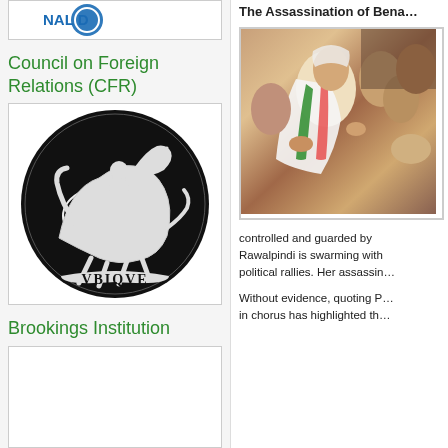[Figure (logo): Partial logo with text 'NAL D' visible, blue colored logo at top of left column]
Council on Foreign Relations (CFR)
[Figure (logo): CFR logo: black circular emblem with a knight on horseback and text 'VBIQVE' on a banner at the bottom]
Brookings Institution
[Figure (photo): Partial Brookings Institution logo placeholder]
The Assassination of Bena…
[Figure (photo): Photo showing a group of women, appearing distressed, one wearing a white and green dupatta/shawl]
controlled and guarded by Rawalpindi is swarming with political rallies. Her assassin…
Without evidence, quoting P… in chorus has highlighted th…